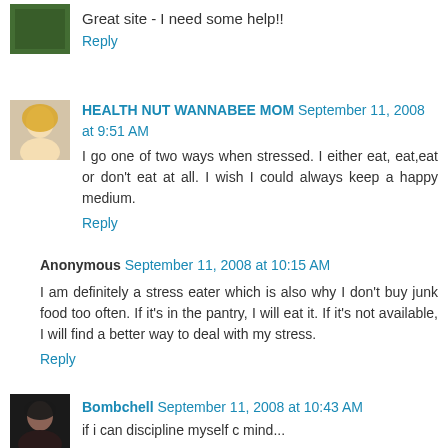Great site - I need some help!!
Reply
HEALTH NUT WANNABEE MOM September 11, 2008 at 9:51 AM
I go one of two ways when stressed. I either eat, eat,eat or don't eat at all. I wish I could always keep a happy medium.
Reply
Anonymous September 11, 2008 at 10:15 AM
I am definitely a stress eater which is also why I don't buy junk food too often. If it's in the pantry, I will eat it. If it's not available, I will find a better way to deal with my stress.
Reply
Bombchell September 11, 2008 at 10:43 AM
if i can discipline myself c mind...